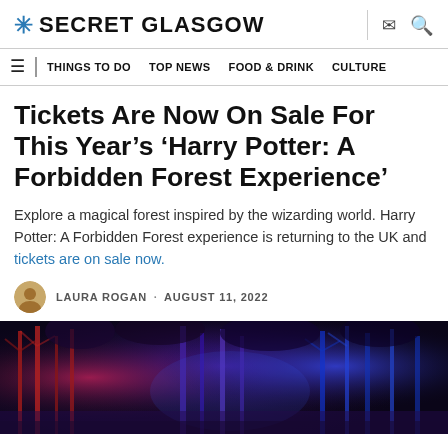SECRET GLASGOW
THINGS TO DO · TOP NEWS · FOOD & DRINK · CULTURE
Tickets Are Now On Sale For This Year's 'Harry Potter: A Forbidden Forest Experience'
Explore a magical forest inspired by the wizarding world. Harry Potter: A Forbidden Forest experience is returning to the UK and tickets are on sale now.
LAURA ROGAN · AUGUST 11, 2022
[Figure (photo): A dark forest scene illuminated with blue and red magical lighting, showing trees lit up in purple, blue and red hues against a night sky.]